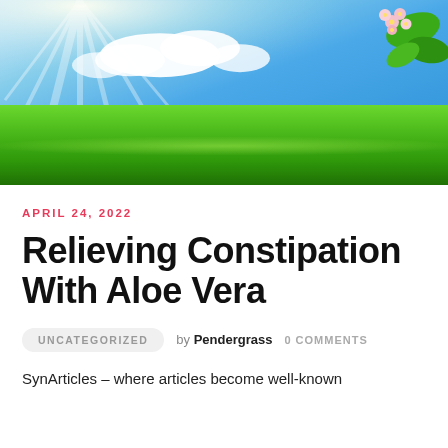[Figure (photo): Hero banner image showing a sunny blue sky with white clouds and sunrays at top left, lush green grass field in the lower half, and cherry blossom flowers with green leaves in the top right corner.]
APRIL 24, 2022
Relieving Constipation With Aloe Vera
UNCATEGORIZED   by Pendergrass   0 COMMENTS
SynArticles – where articles become well-known